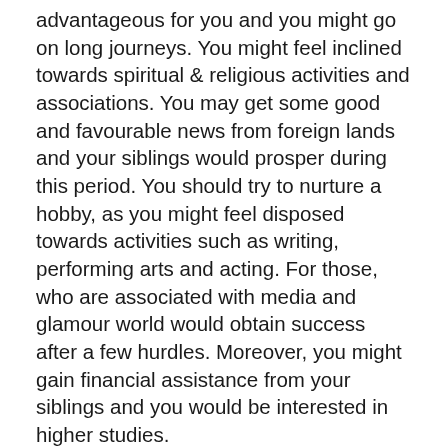advantageous for you and you might go on long journeys. You might feel inclined towards spiritual & religious activities and associations. You may get some good and favourable news from foreign lands and your siblings would prosper during this period. You should try to nurture a hobby, as you might feel disposed towards activities such as writing, performing arts and acting. For those, who are associated with media and glamour world would obtain success after a few hurdles. Moreover, you might gain financial assistance from your siblings and you would be interested in higher studies.
General Remedy-  Always Respect and Take proper care of mother.